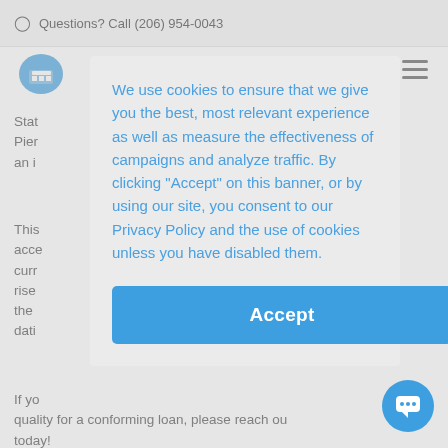Questions? Call (206) 954-0043
[Figure (logo): Shield/badge logo icon in blue]
Stat and Pier 250, an i
This acce curr rise in the d dati
We use cookies to ensure that we give you the best, most relevant experience as well as measure the effectiveness of campaigns and analyze traffic. By clicking "Accept" on this banner, or by using our site, you consent to our Privacy Policy and the use of cookies unless you have disabled them.
Accept
If yo quality for a conforming loan, please reach out today!